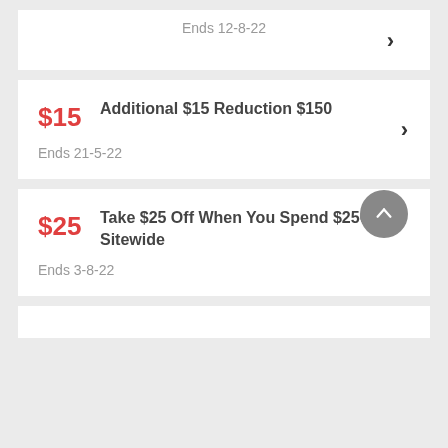Ends 12-8-22
$15
Additional $15 Reduction $150
Ends 21-5-22
$25
Take $25 Off When You Spend $250+ Sitewide
Ends 3-8-22